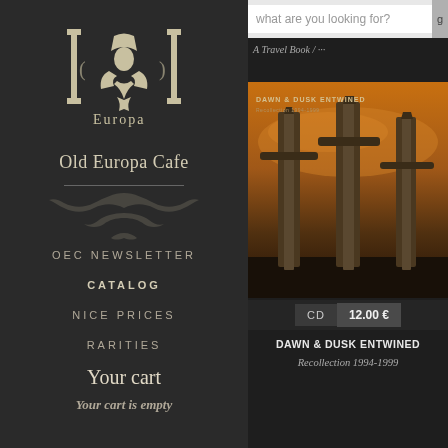[Figure (logo): Old Europa Cafe logo — stylized figure with bracket-like forms and text 'Europa' beneath]
Old Europa Cafe
OEC NEWSLETTER
CATALOG
NICE PRICES
RARITIES
Your cart
Your cart is empty
[Figure (screenshot): Search bar with text 'what are you looking for?' and a link 'A Travel Book / ...']
[Figure (photo): Album cover: Dawn & Dusk Entwined - Recollection 1994-1999. Three large stone sword monuments against a dramatic golden sky.]
CD  12.00 €
DAWN & DUSK ENTWINED
Recollection 1994-1999